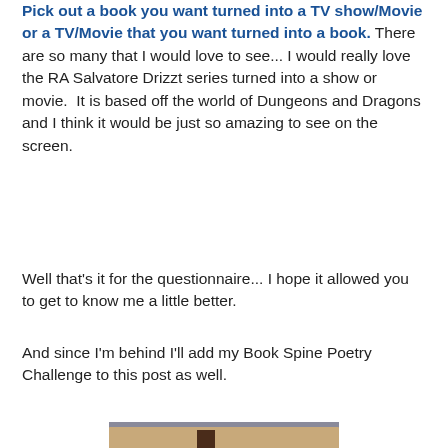Pick out a book you want turned into a TV show/Movie or a TV/Movie that you want turned into a book. There are so many that I would love to see... I would really love the RA Salvatore Drizzt series turned into a show or movie. It is based off the world of Dungeons and Dragons and I think it would be just so amazing to see on the screen.
Well that's it for the questionnaire... I hope it allowed you to get to know me a little better.
And since I'm behind I'll add my Book Spine Poetry Challenge to this post as well.
[Figure (photo): A stack of books photographed from above showing their spines. Visible titles include: The Historian by Elizabeth Kostova, MISSING by R.L. Stine, BLOOD! SAID THE CAT by Louise Munro Foley, The Gunslinger (The Dark Tower) by Stephen King, and Shadow and Bone by Bardugo.]